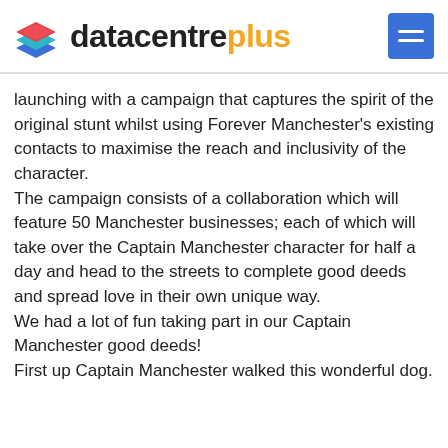datacentreplus
launching with a campaign that captures the spirit of the original stunt whilst using Forever Manchester's existing contacts to maximise the reach and inclusivity of the character.
The campaign consists of a collaboration which will feature 50 Manchester businesses; each of which will take over the Captain Manchester character for half a day and head to the streets to complete good deeds and spread love in their own unique way.
We had a lot of fun taking part in our Captain Manchester good deeds!
First up Captain Manchester walked this wonderful dog.